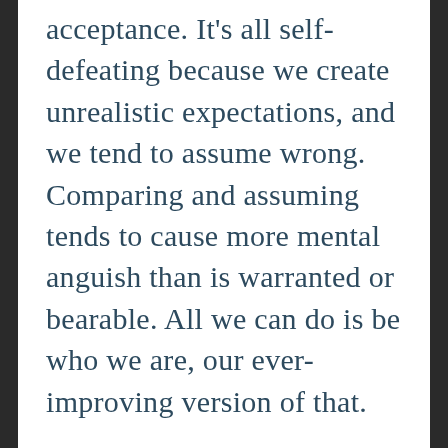acceptance. It's all self-defeating because we create unrealistic expectations, and we tend to assume wrong. Comparing and assuming tends to cause more mental anguish than is warranted or bearable. All we can do is be who we are, our ever-improving version of that.